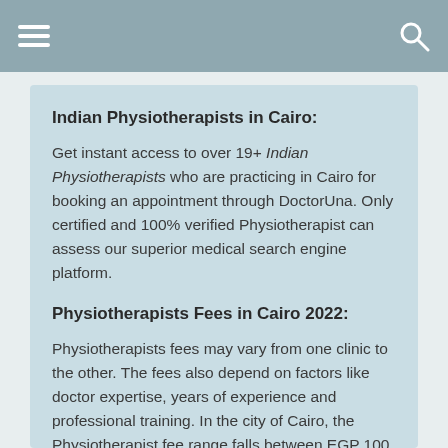Indian Physiotherapists in Cairo:
Get instant access to over 19+ Indian Physiotherapists who are practicing in Cairo for booking an appointment through DoctorUna. Only certified and 100% verified Physiotherapist can assess our superior medical search engine platform.
Physiotherapists Fees in Cairo 2022:
Physiotherapists fees may vary from one clinic to the other. The fees also depend on factors like doctor expertise, years of experience and professional training. In the city of Cairo, the Physiotherapist fee range falls between EGP 100 - EGP 600.
Physiotherapists Timing in Cairo:
Most Physiotherapist employ professional and courteous staff who provide info about the doctor's regular timing for